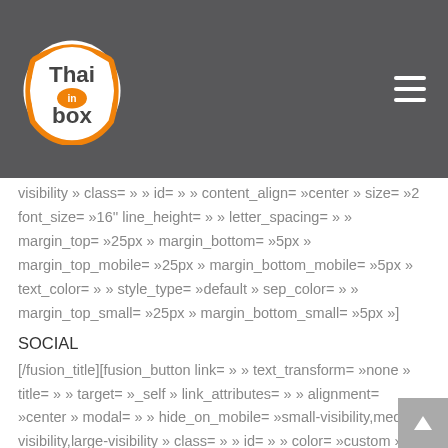[Figure (logo): Thai in box logo with orange circular design]
visibility » class= » » id= » » content_align= »center » size= »2 font_size= »16'' line_height= » » letter_spacing= » » margin_top= »25px » margin_bottom= »5px » margin_top_mobile= »25px » margin_bottom_mobile= »5px » text_color= » » style_type= »default » sep_color= » » margin_top_small= »25px » margin_bottom_small= »5px »]
SOCIAL
[/fusion_title][fusion_button link= » » text_transform= »none » title= » » target= »_self » link_attributes= » » alignment= »center » modal= » » hide_on_mobile= »small-visibility,medium-visibility,large-visibility » class= » » id= » » color= »custom » button_gradient_top_color= »#7b35dd »